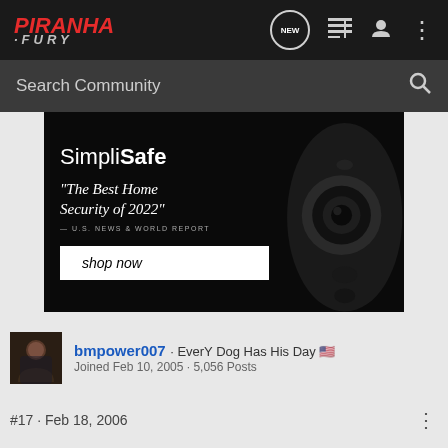[Figure (logo): Piranha Fury forum logo in red and gray italic text on dark background navigation bar with NEW chat bubble icon, list icon, user icon, and three-dot menu icon]
Search Community
[Figure (photo): SimpliSafe advertisement on black background featuring a dark security camera on the right side. Text reads: SimpliSafe, 'The Best Home Security of 2022' — U.S. NEWS & WORLD REPORT, with a 'shop now' button]
bmpower007 · EverY Dog Has His Day 🇺🇸
Joined Feb 10, 2005 · 5,056 Posts
#17 · Feb 18, 2006